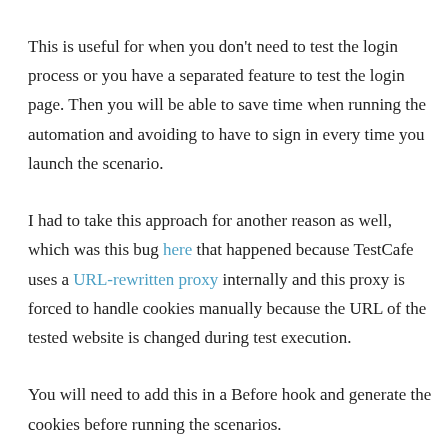This is useful for when you don't need to test the login process or you have a separated feature to test the login page. Then you will be able to save time when running the automation and avoiding to have to sign in every time you launch the scenario.
I had to take this approach for another reason as well, which was this bug here that happened because TestCafe uses a URL-rewritten proxy internally and this proxy is forced to handle cookies manually because the URL of the tested website is changed during test execution.
You will need to add this in a Before hook and generate the cookies before running the scenarios.